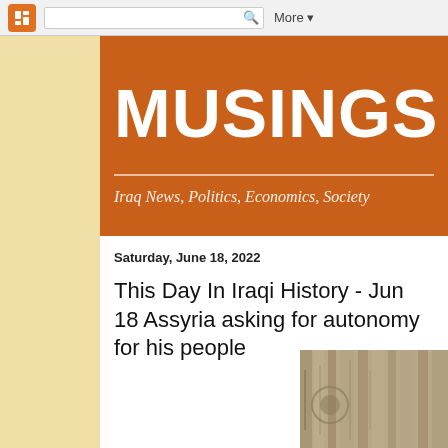Blogger navigation bar with search and More menu
MUSINGS O
Iraq News, Politics, Economics, Society
Saturday, June 18, 2022
This Day In Iraqi History - Jun 18 Assyria asking for autonomy for his people
[Figure (photo): Partial view of an old document or inscription with decorative imagery]